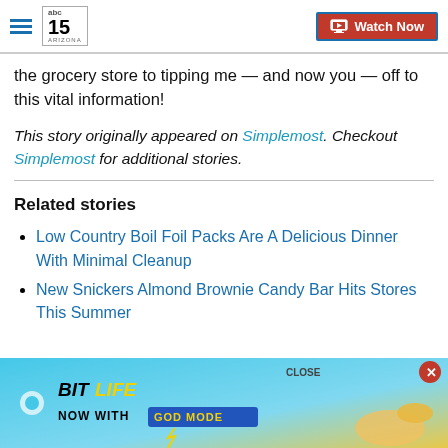abc15 ARIZONA — Watch Now
the grocery store to tipping me — and now you — off to this vital information!
This story originally appeared on Simplemost. Checkout Simplemost for additional stories.
Related stories
Low Country Boil Foil Packs Are A Delicious Dinner With Minimal Cleanup
New Snickers Almond Brownie Candy Bar Hits Stores This Summer
[Figure (advertisement): BitLife mobile game ad with 'Now with GOD MODE' text on a blue/yellow background with cartoon hand pointing]